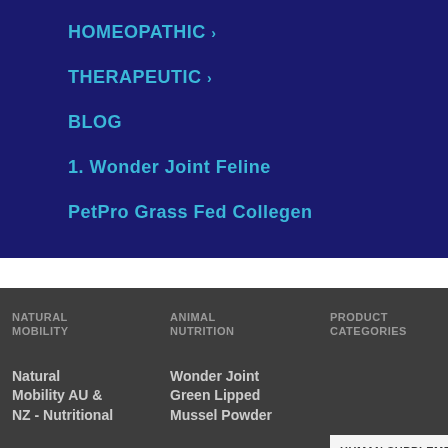HOMEOPATHIC >
THERAPEUTIC >
BLOG
1. Wonder Joint Feline
PetPro Grass Fed Collegen
NATURAL MOBILITY
ANIMAL NUTRITION
PRODUCT CATEGORIES
Natural Mobility AU & NZ - Nutritional
Wonder Joint Green Lipped Mussel Powder
HUMAN SUPPLEMENTS